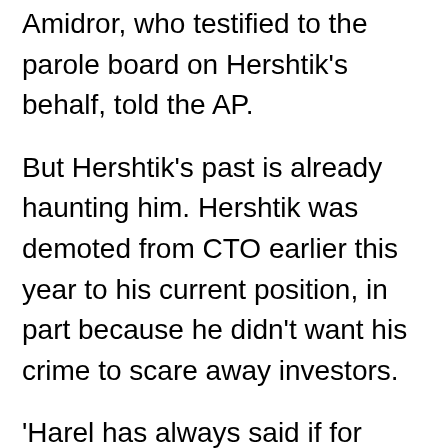Amidror, who testified to the parole board on Hershtik's behalf, told the AP.
But Hershtik's past is already haunting him. Hershtik was demoted from CTO earlier this year to his current position, in part because he didn't want his crime to scare away investors.
'Harel has always said if for some reason his presence is a problem and the company would be better off without him, that he's willing to leave the company,' said Drew Morris, a board member and investor.
As Scentech seeks to take its product to